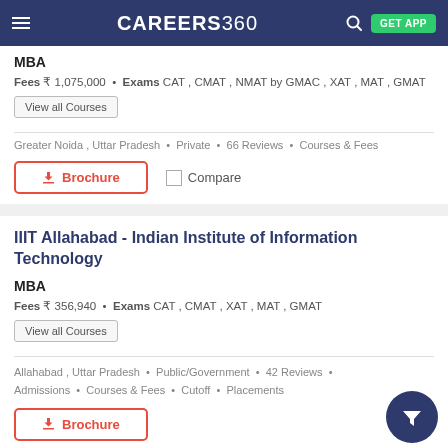CAREERS360
MBA
Fees ₹ 1,075,000 • Exams CAT , CMAT , NMAT by GMAC , XAT , MAT , GMAT
View all Courses
Greater Noida , Uttar Pradesh • Private • 66 Reviews • Courses & Fees
Brochure   Compare
IIIT Allahabad - Indian Institute of Information Technology
MBA
Fees ₹ 356,940 • Exams CAT , CMAT , XAT , MAT , GMAT
View all Courses
Allahabad , Uttar Pradesh • Public/Government • 42 Reviews • Admissions • Courses & Fees • Cutoff • Placements